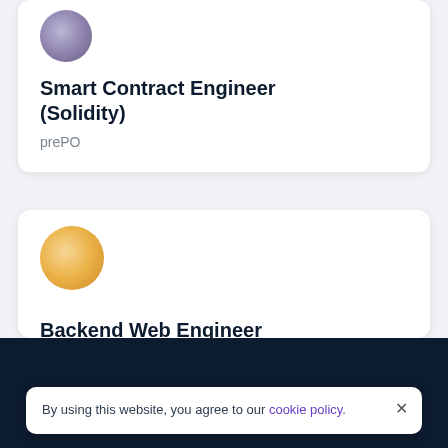Smart Contract Engineer (Solidity)
prePO
[Figure (logo): Purple/violet blurred circle logo for prePO]
Backend Web Engineer
Maple Finance
[Figure (logo): Orange/amber blurred circle logo for Maple Finance]
By using this website, you agree to our cookie policy.